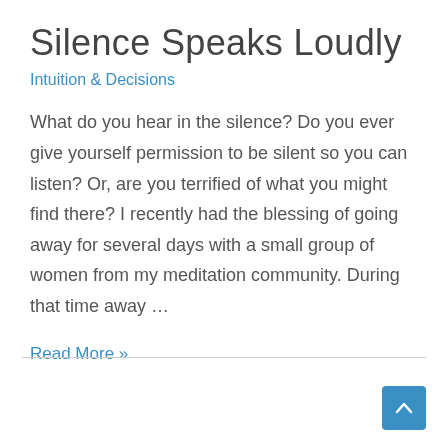Silence Speaks Loudly
Intuition & Decisions
What do you hear in the silence? Do you ever give yourself permission to be silent so you can listen? Or, are you terrified of what you might find there? I recently had the blessing of going away for several days with a small group of women from my meditation community. During that time away …
Read More »